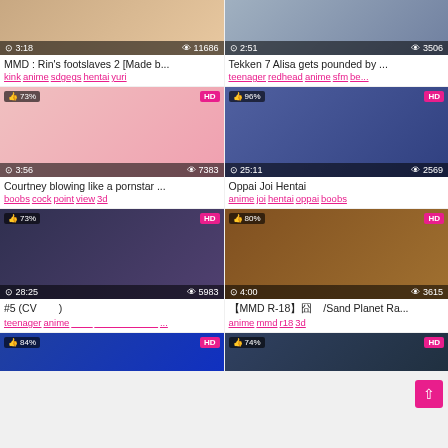[Figure (screenshot): Video thumbnail grid of adult anime/3D content with titles, tags, view counts, durations]
MMD : Rin's footslaves 2 [Made b...
kink anime sdgegs hentai yuri
Tekken 7 Alisa gets pounded by ...
teenager redhead anime sfm be...
Courtney blowing like a pornstar ...
boobs cock point view 3d
Oppai Joi Hentai
anime joi hentai oppai boobs
#5 (CV　　)
teenager anime ____　____________...
【MMD R-18】囧　/Sand Planet Ra...
anime mmd r18 3d